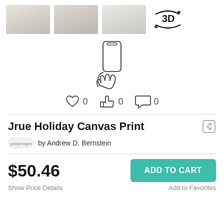[Figure (screenshot): Three room preview thumbnail images and a 3D rotate icon]
[Figure (illustration): Hand holding a smartphone icon (outline style)]
[Figure (infographic): Social interaction row: heart icon with 0, thumbs-up icon with 0, comment icon with 0]
Jrue Holiday Canvas Print
by Andrew D. Bernstein
$50.46
ADD TO CART
Show Price Details
Add to Favorites